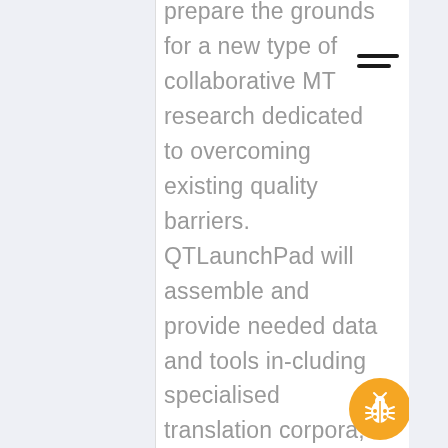prepare the grounds for a new type of collaborative MT research dedicated to overcoming existing quality barriers. QTLaunchPad will assemble and provide needed data and tools in-cluding specialised translation corpora, test suites and tools for quality
[Figure (illustration): Orange rounded rectangle button with 'Under construction' text rotated vertically, and a white circle arrow button at the bottom]
[Figure (illustration): Orange circle button with a ladybug/bug icon in white]